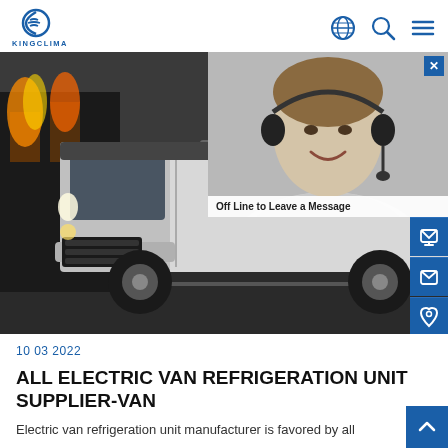KINGCLIMA
[Figure (photo): White delivery van driving on a road with a dark background showing a building with flames, and a chat widget overlay showing a woman with a headset and message 'Off Line to Leave a Message']
10 03 2022
ALL ELECTRIC VAN REFRIGERATION UNIT SUPPLIER-VAN
Electric van refrigeration unit manufacturer is favored by all